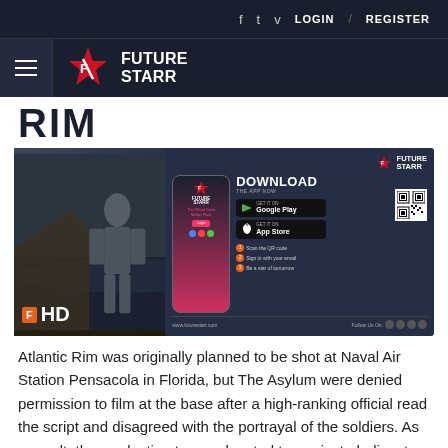f  t  v  LOGIN / REGISTER
[Figure (logo): Future Starr logo with hamburger menu]
RIM
[Figure (photo): Composite image: Atlantic Rim movie screenshot showing a giant humanoid figure rising from the ocean, overlaid with a Future Starr app advertisement showing download instructions, Google Play and App Store buttons, QR code, and steps to use the app.]
Atlantic Rim was originally planned to be shot at Naval Air Station Pensacola in Florida, but The Asylum were denied permission to film at the base after a high-ranking official read the script and disagreed with the portrayal of the soldiers. As a result, the production team relocated to a private helicopter airport that served as a stand-in for at least seven locations for